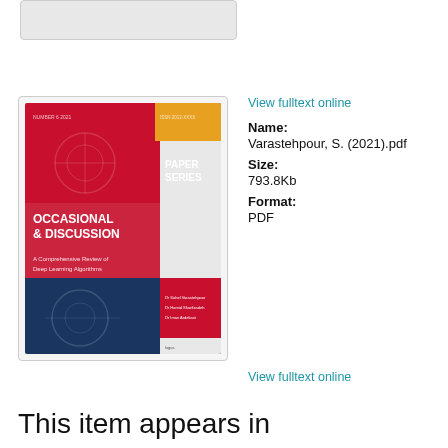[Figure (illustration): Thumbnail/preview image at top of page, grey rectangle]
[Figure (photo): Book cover thumbnail: 'Occasional & Discussion Paper Series - A Comprehensive Review of Deep Learning Algorithms' by Dr Sohel Varastehpour, Dr Hamid Sharifzadeh, Dr Iman Ardekani. Red and blue cover design.]
View fulltext online
Name:
Varastehpour, S. (2021).pdf
Size:
793.8Kb
Format:
PDF
View fulltext online
This item appears in